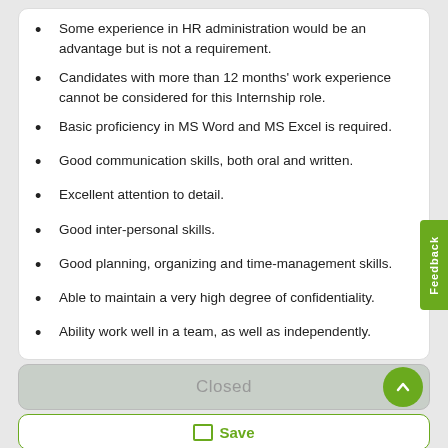Some experience in HR administration would be an advantage but is not a requirement.
Candidates with more than 12 months' work experience cannot be considered for this Internship role.
Basic proficiency in MS Word and MS Excel is required.
Good communication skills, both oral and written.
Excellent attention to detail.
Good inter-personal skills.
Good planning, organizing and time-management skills.
Able to maintain a very high degree of confidentiality.
Ability work well in a team, as well as independently.